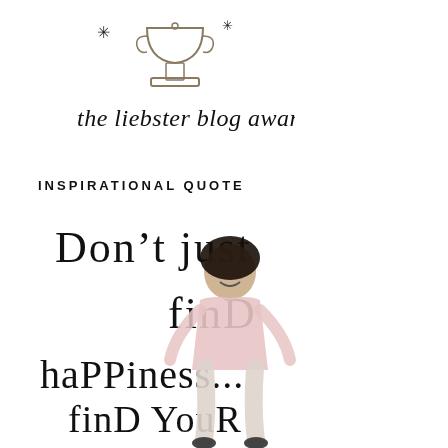[Figure (illustration): The Liebster Blog Award logo: a hand-drawn trophy with asterisk/star decorations and handwritten cursive text reading 'the liebster blog award']
INSPIRATIONAL QUOTE
[Figure (infographic): Inspirational quote overlaid on a photo of a young smiling Black woman jumping/posing. The quote reads: Don't just finD haPPiness... finD YouR haPPiness (in mixed hand-drawn lettering)]